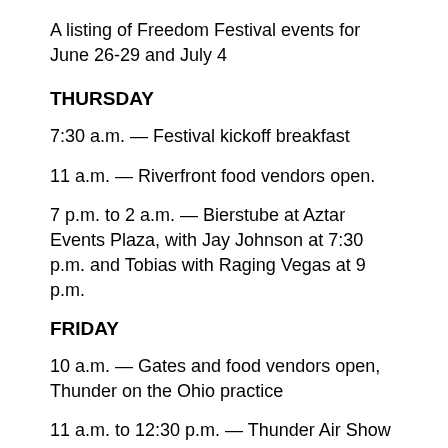A listing of Freedom Festival events for June 26-29 and July 4
THURSDAY
7:30 a.m. — Festival kickoff breakfast
11 a.m. — Riverfront food vendors open.
7 p.m. to 2 a.m. — Bierstube at Aztar Events Plaza, with Jay Johnson at 7:30 p.m. and Tobias with Raging Vegas at 9 p.m.
FRIDAY
10 a.m. — Gates and food vendors open, Thunder on the Ohio practice
11 a.m. to 12:30 p.m. — Thunder Air Show practice
Noon to 1 p.m. — Military ceremony in Caesars Park